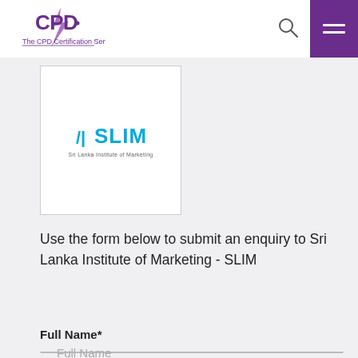CPD - The CPD Certification Service
[Figure (logo): SLIM - Sri Lanka Institute of Marketing logo in a white bordered card]
Use the form below to submit an enquiry to Sri Lanka Institute of Marketing - SLIM
Full Name*
Full Name